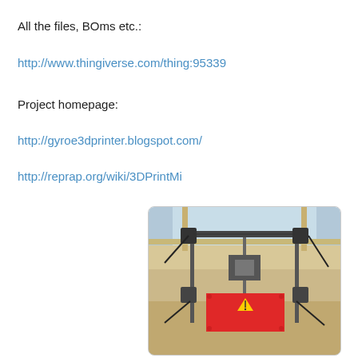All the files, BOms etc.:
http://www.thingiverse.com/thing:95339
Project homepage:
http://gyroe3dprinter.blogspot.com/
http://reprap.org/wiki/3DPrintMi
[Figure (photo): Photo of a 3D printer (likely a RepRap-style) on a carpeted floor in front of a window. The printer has a red heated bed, metal rods, stepper motors, and cables.]